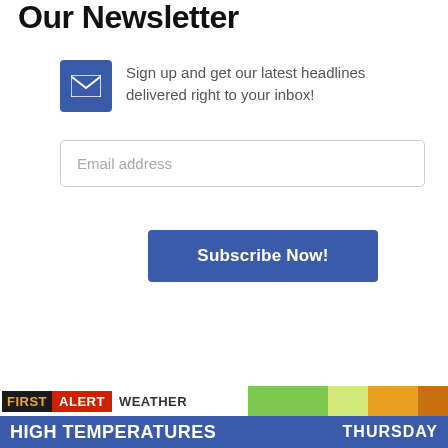Our Newsletter
Sign up and get our latest headlines delivered right to your inbox!
Email address
Subscribe Now!
[Figure (screenshot): Weather broadcast bottom bar showing FIRST ALERT WEATHER HIGH TEMPERATURES THURSDAY with a weather map]